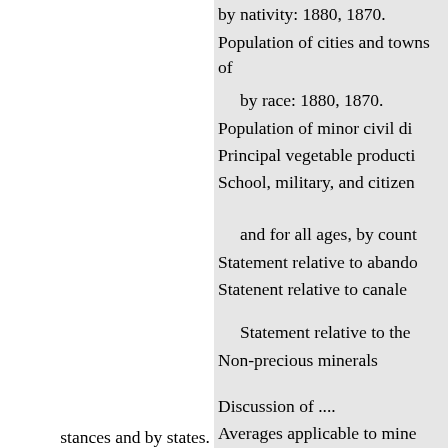by nativity: 1880, 1870.
Population of cities and towns of
by race: 1880, 1870.
Population of minor civil di
Principal vegetable producti
School, military, and citizen
and for all ages, by count
Statement relative to abando
Statenent relative to canale
Statement relative to the
Non-precious minerals
Discussion of ....
Averages applicable to mine
establishments of.
Percentage of gain per ton i
since the census of 1870.
Product of the industries of
stances and by states.